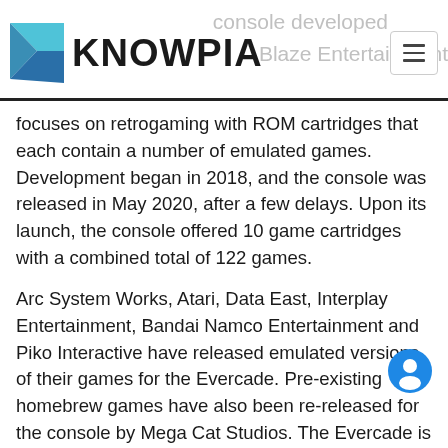KNOWPIA
focuses on retrogaming with ROM cartridges that each contain a number of emulated games. Development began in 2018, and the console was released in May 2020, after a few delays. Upon its launch, the console offered 10 game cartridges with a combined total of 122 games.
Arc System Works, Atari, Data East, Interplay Entertainment, Bandai Namco Entertainment and Piko Interactive have released emulated versions of their games for the Evercade. Pre-existing homebrew games have also been re-released for the console by Mega Cat Studios. The Evercade is capable of playing games originally released for the Atari 2600, the Atari 7800, the Atari Lynx, the NES, the SNES, and the Super Genesis/Mega Drive...